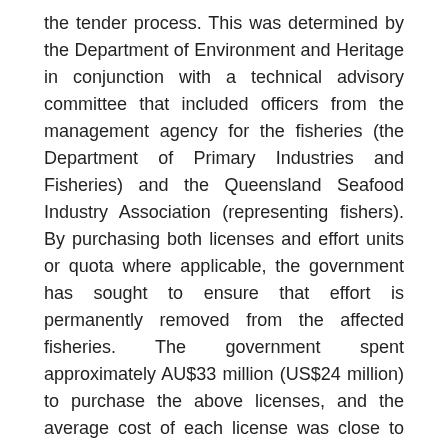the tender process. This was determined by the Department of Environment and Heritage in conjunction with a technical advisory committee that included officers from the management agency for the fisheries (the Department of Primary Industries and Fisheries) and the Queensland Seafood Industry Association (representing fishers). By purchasing both licenses and effort units or quota where applicable, the government has sought to ensure that effort is permanently removed from the affected fisheries. The government spent approximately AU$33 million (US$24 million) to purchase the above licenses, and the average cost of each license was close to market value.
MPA News: With the structural adjustment package consisting of other types of aid